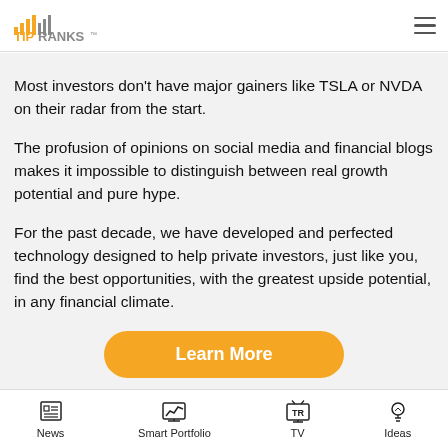TipRanks — navigation header with hamburger menu
Most investors don't have major gainers like TSLA or NVDA on their radar from the start.
The profusion of opinions on social media and financial blogs makes it impossible to distinguish between real growth potential and pure hype.
For the past decade, we have developed and perfected technology designed to help private investors, just like you, find the best opportunities, with the greatest upside potential, in any financial climate.
[Figure (other): Orange 'Learn More' call-to-action button]
Disclaimer
Bottom navigation bar with News, Smart Portfolio, TV, Ideas